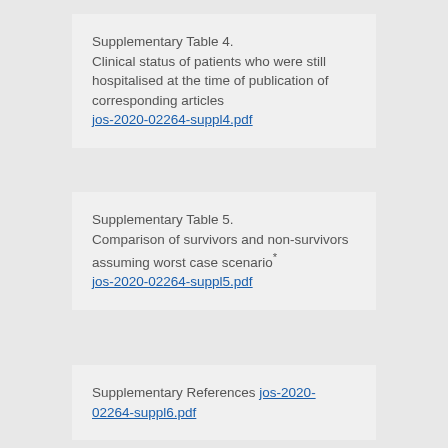Supplementary Table 4. Clinical status of patients who were still hospitalised at the time of publication of corresponding articles jos-2020-02264-suppl4.pdf
Supplementary Table 5. Comparison of survivors and non-survivors assuming worst case scenario* jos-2020-02264-suppl5.pdf
Supplementary References jos-2020-02264-suppl6.pdf